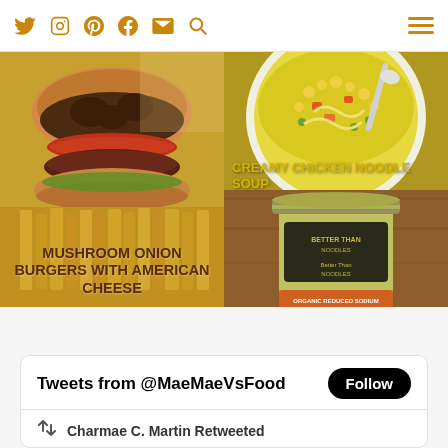Social icons: Twitter, Instagram, Pinterest, Facebook, Email, Search; Hamburger menu
[Figure (photo): Mushroom onion burger with American cheese photo with text overlay reading MUSHROOM ONION BURGERS WITH AMERICAN CHEESE]
[Figure (photo): Creamy chicken noodle soup photo with text overlay reading CREAMY CHICKEN NOODLE SOUP, with a jar of Better Than Noodles product visible]
Tweets from @MaeMaeVsFood
Charmae C. Martin Retweeted